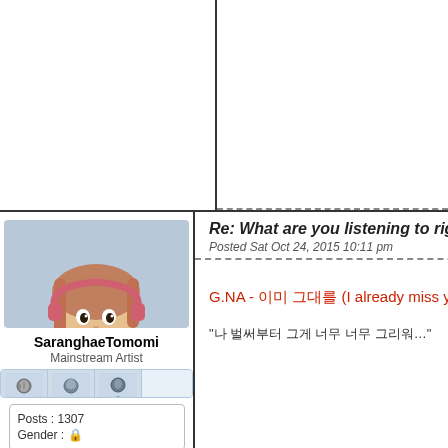[Figure (photo): Young woman with pink headphones and red/pink hair holding a red device, wearing a dark blue fuzzy scarf, profile photo for user SaranghаeTomomi]
SaranghаeTomomi
Mainstream Artist
[Figure (illustration): Four anime-style character avatar icons in a row showing the user's rank badge]
| Posts : 1307 |
| Gender : 🔒 |
Re: What are you listening to right n
Posted Sat Oct 24, 2015 10:11 pm
G.NA - 이미 그대를 (I already miss you)
"나 벌써부터 그게 너무 너무 그리워…"